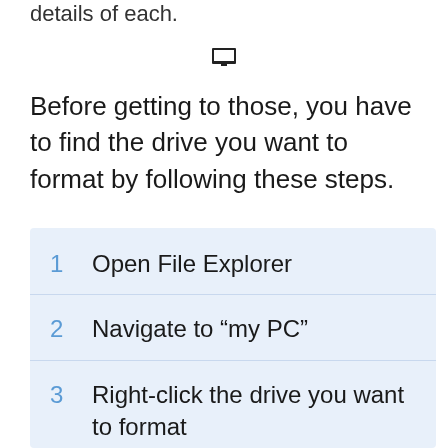details of each.
[Figure (screenshot): Small icon of a computer/monitor screen]
Before getting to those, you have to find the drive you want to format by following these steps.
1  Open File Explorer
2  Navigate to “my PC”
3  Right-click the drive you want to format
4  Click “format”